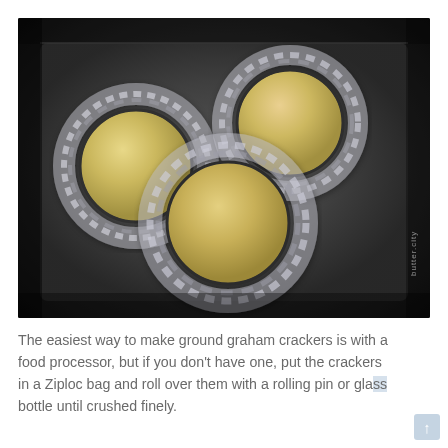[Figure (photo): Three mini cheesecakes in springform rings wrapped with aluminum foil sitting on a dark baking pan/tray, ready to bake. The cheesecakes have a smooth pale yellow filling. A watermark 'butter.city' is visible in the bottom right corner.]
The easiest way to make ground graham crackers is with a food processor, but if you don't have one, put the crackers in a Ziploc bag and roll over them with a rolling pin or glass bottle until crushed finely.